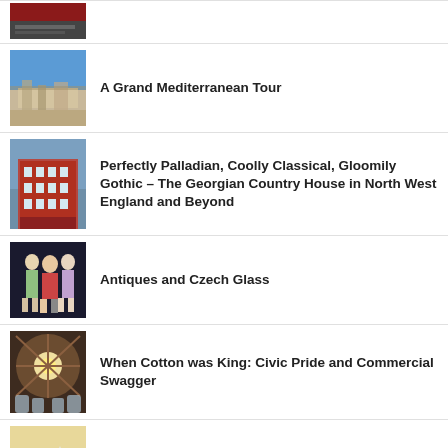[Figure (photo): Partial thumbnail at top of page - appears to be a red/dark image, cropped]
[Figure (photo): Aerial or landscape view of Mediterranean ruins/amphitheatre - blue sky and stone ruins]
A Grand Mediterranean Tour
[Figure (photo): Georgian red brick building / country house exterior]
Perfectly Palladian, Coolly Classical, Gloomily Gothic – The Georgian Country House in North West England and Beyond
[Figure (photo): Antique porcelain figurines of women against dark background]
Antiques and Czech Glass
[Figure (photo): Interior ceiling of ornate building with radial architectural details and light]
When Cotton was King: Civic Pride and Commercial Swagger
[Figure (photo): Japanese woodblock print style artwork showing landscape by water]
The Arts of Japan